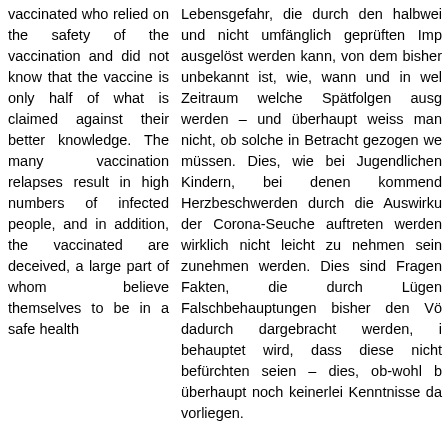vaccinated who relied on the safety of the vaccination and did not know that the vaccine is only half of what is claimed against their better knowledge. The many vaccination relapses result in high numbers of infected people, and in addition, the vaccinated are deceived, a large part of whom believe themselves to be in a safe health
Lebensgefahr, die durch den halbwei und nicht umfänglich geprüften Imp ausgelöst werden kann, von dem bisher unbekannt ist, wie, wann und in wel Zeitraum welche Spätfolgen ausg werden – und überhaupt weiss man nicht, ob solche in Betracht gezogen we müssen. Dies, wie bei Jugendlichen Kindern, bei denen kommend Herzbeschwerden durch die Auswirku der Corona-Seuche auftreten werden wirklich nicht leicht zu nehmen sein zunehmen werden. Dies sind Fragen Fakten, die durch Lügen Falschbehauptungen bisher den Vö dadurch dargebracht werden, i behauptet wird, dass diese nicht befürchten seien – dies, ob-wohl b überhaupt noch keinerlei Kenntnisse da vorliegen.